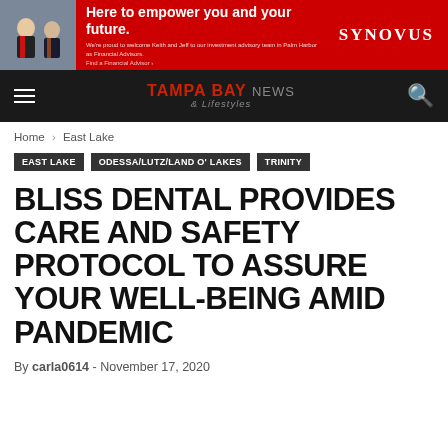[Figure (other): Synovus advertisement banner with red background, two men in suits, headline 'Here to empower you and your future.' and Synovus logo]
TAMPA BAY NEWS & Lifestyles
Home › East Lake
EAST LAKE
ODESSA/LUTZ/LAND O' LAKES
TRINITY
BLISS DENTAL PROVIDES CARE AND SAFETY PROTOCOL TO ASSURE YOUR WELL-BEING AMID PANDEMIC
By carla0614 - November 17, 2020